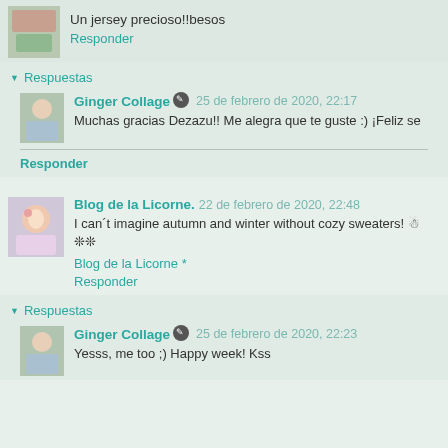Un jersey precioso!!besos
Responder
▼ Respuestas
Ginger Collage  25 de febrero de 2020, 22:17
Muchas gracias Dezazu!! Me alegra que te guste :) ¡Feliz se
Responder
Blog de la Licorne.  22 de febrero de 2020, 22:48
I can´t imagine autumn and winter without cozy sweaters! ☃❊❊
Blog de la Licorne *
Responder
▼ Respuestas
Ginger Collage  25 de febrero de 2020, 22:23
Yesss, me too ;) Happy week! Kss